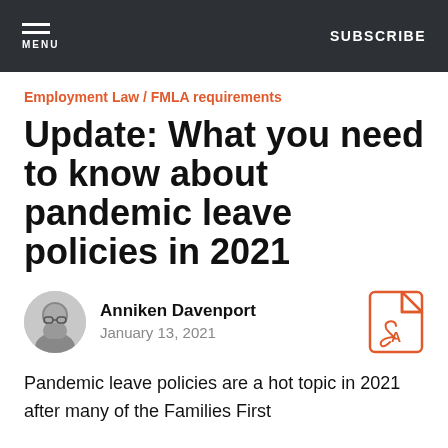MENU | SUBSCRIBE
Employment Law / FMLA requirements
Update: What you need to know about pandemic leave policies in 2021
Anniken Davenport
January 13, 2021
Pandemic leave policies are a hot topic in 2021 after many of the Families First